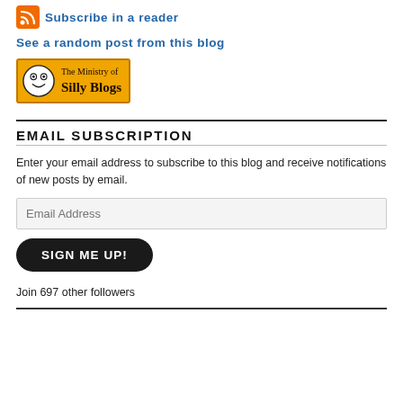Subscribe in a reader
See a random post from this blog
[Figure (logo): The Ministry of Silly Blogs badge — orange background with a smiley face icon and text reading 'The Ministry of Silly Blogs']
EMAIL SUBSCRIPTION
Enter your email address to subscribe to this blog and receive notifications of new posts by email.
Email Address
SIGN ME UP!
Join 697 other followers